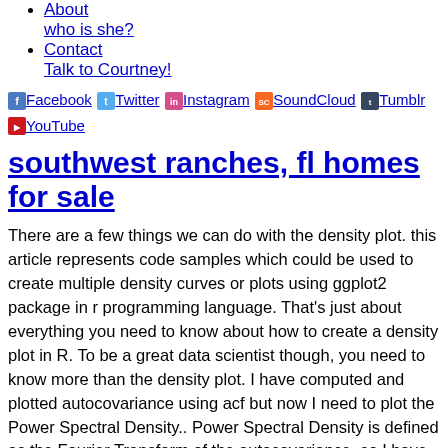About who is she?
Contact Talk to Courtney!
[Figure (other): Social media icon links: Facebook, Twitter, Instagram, SoundCloud, Tumblr, YouTube]
southwest ranches, fl homes for sale
There are a few things we can do with the density plot. this article represents code samples which could be used to create multiple density curves or plots using ggplot2 package in r programming language. That's just about everything you need to know about how to create a density plot in R. To be a great data scientist though, you need to know more than the density plot. I have computed and plotted autocovariance using acf but now I need to plot the Power Spectral Density.. Power Spectral Density is defined as the Fourier Transform of the autocovariance, so I have calculated this from my data, but I do not understand how to turn it into a frequency vs amplitude plot. So what exactly did we do to make this look so damn good? The density plot is a basic tool in your data science toolkit. First, let's add some color to the plot. By mapping Species to the color aesthetic, we essentially "break out" the basic density plot into three density plots: one density plot